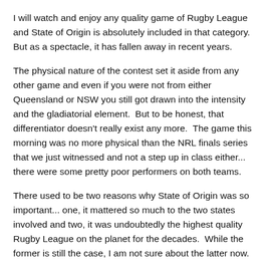I will watch and enjoy any quality game of Rugby League and State of Origin is absolutely included in that category.  But as a spectacle, it has fallen away in recent years.
The physical nature of the contest set it aside from any other game and even if you were not from either Queensland or NSW you still got drawn into the intensity and the gladiatorial element.  But to be honest, that differentiator doesn't really exist any more.  The game this morning was no more physical than the NRL finals series that we just witnessed and not a step up in class either... there were some pretty poor performers on both teams.
There used to be two reasons why State of Origin was so important... one, it mattered so much to the two states involved and two, it was undoubtedly the highest quality Rugby League on the planet for the decades.  While the former is still the case, I am not sure about the latter now.
As others have mentioned, if you are not a Rugby League fan and not from Queensland or NSW (or Australia overall), just what is it about State of Origin that we would expect to capture the